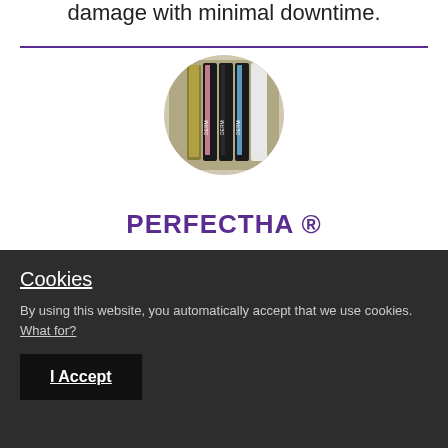damage with minimal downtime.
[Figure (photo): Circular cropped photo showing multiple Perfectha dermal filler pen devices in black with colored accents (gold, pink, blue), arranged upright side by side.]
PERFECTHA ®
Cookies
By using this website, you automatically accept that we use cookies. What for?
I Accept